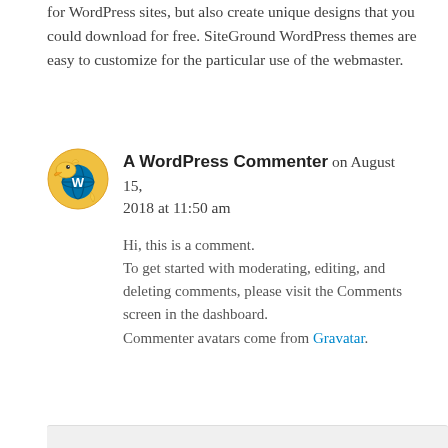for WordPress sites, but also create unique designs that you could download for free. SiteGround WordPress themes are easy to customize for the particular use of the webmaster.
A WordPress Commenter on August 15, 2018 at 11:50 am
[Figure (illustration): WordPress commenter avatar: yellow dolphin-like mascot with a blue WordPress logo globe]
Hi, this is a comment.
To get started with moderating, editing, and deleting comments, please visit the Comments screen in the dashboard.
Commenter avatars come from Gravatar.